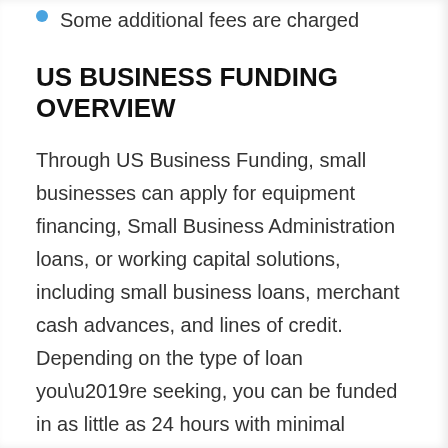Some additional fees are charged
US BUSINESS FUNDING OVERVIEW
Through US Business Funding, small businesses can apply for equipment financing, Small Business Administration loans, or working capital solutions, including small business loans, merchant cash advances, and lines of credit. Depending on the type of loan you’re seeking, you can be funded in as little as 24 hours with minimal paperwork requirements.